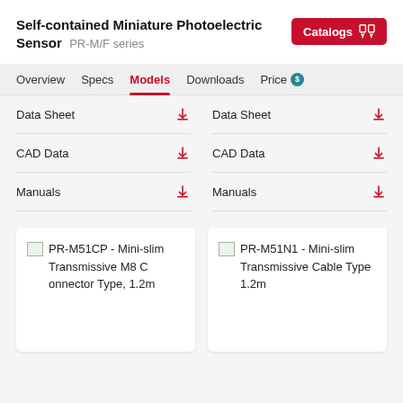Self-contained Miniature Photoelectric Sensor  PR-M/F series
Models
Overview  Specs  Models  Downloads  Price
|  |  |
| --- | --- |
| Data Sheet | Data Sheet |
| CAD Data | CAD Data |
| Manuals | Manuals |
PR-M51CP - Mini-slim Transmissive M8 Connector Type, 1.2m
PR-M51N1 - Mini-slim Transmissive Cable Type 1.2m